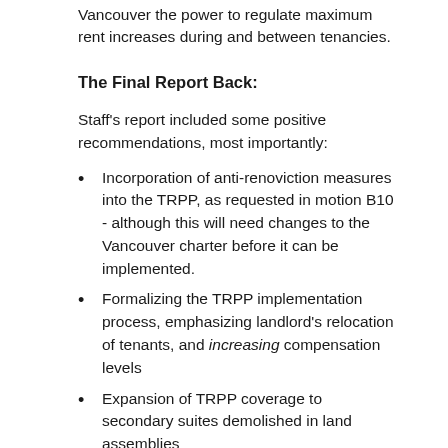Vancouver the power to regulate maximum rent increases during and between tenancies.
The Final Report Back:
Staff's report included some positive recommendations, most importantly:
Incorporation of anti-renoviction measures into the TRPP, as requested in motion B10 - although this will need changes to the Vancouver charter before it can be implemented.
Formalizing the TRPP implementation process, emphasizing landlord's relocation of tenants, and increasing compensation levels
Expansion of TRPP coverage to secondary suites demolished in land assemblies
Requiring city to send info packages to tenants in recently sold buildings
Use of business license to crack down on illegal